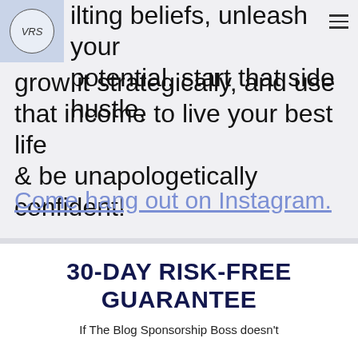[Figure (logo): Circular logo with 'VRS' text on a light blue background]
ilting beliefs, unleash your potential, start that side hustle, grow it strategically, and use that income to live your best life & be unapologetically confident!
Come hang out on Instagram.
30-DAY RISK-FREE GUARANTEE
If The Blog Sponsorship Boss doesn't